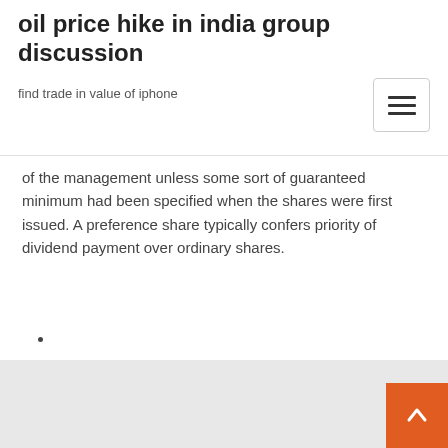oil price hike in india group discussion
find trade in value of iphone
[Figure (other): Hamburger menu button icon with three horizontal lines]
of the management unless some sort of guaranteed minimum had been specified when the shares were first issued. A preference share typically confers priority of dividend payment over ordinary shares.